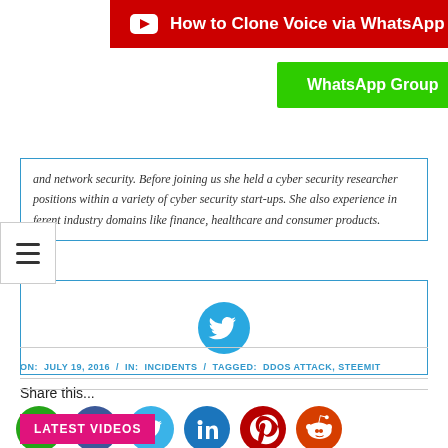[Figure (screenshot): Red YouTube banner bar with YouTube play icon and text: How to Clone Voice via WhatsApp Voice Message]
[Figure (screenshot): Green WhatsApp Group button]
and network security. Before joining us she held a cyber security researcher positions within a variety of cyber security start-ups. She also experience in ferent industry domains like finance, healthcare and consumer products.
[Figure (screenshot): Twitter bird icon in blue circle inside a bordered box]
Share this...
[Figure (infographic): Social sharing icons: WhatsApp (green), Facebook (dark blue), Twitter (light blue), LinkedIn (blue), Pinterest (dark red), Reddit (orange-red)]
ON:  JULY 19, 2016  /  IN:  INCIDENTS  /  TAGGED:  DDOS ATTACK, STEEMIT
LATEST VIDEOS